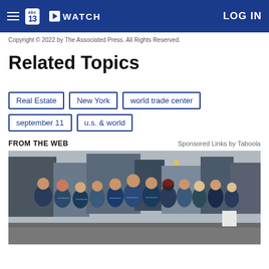abc13 WATCH LOG IN
Copyright © 2022 by The Associated Press. All Rights Reserved.
Related Topics
Real Estate
New York
world trade center
september 11
u.s. & world
FROM THE WEB
Sponsored Links by Taboola
[Figure (photo): Group of people wearing matching dark blue/teal branded t-shirts standing together on a city street, with urban buildings in the background.]